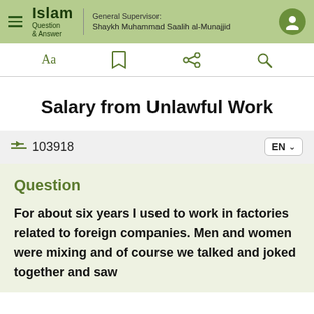Islam Question & Answer — General Supervisor: Shaykh Muhammad Saalih al-Munajjid
Salary from Unlawful Work
103918   EN
Question
For about six years I used to work in factories related to foreign companies. Men and women were mixing and of course we talked and joked together and saw